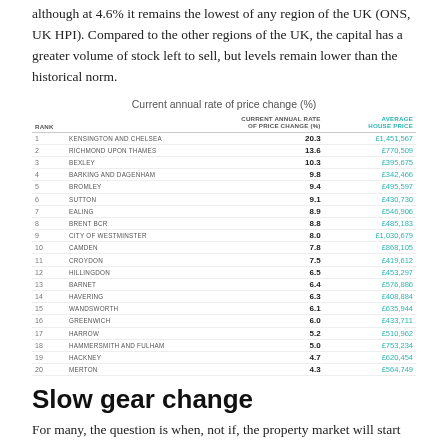although at 4.6% it remains the lowest of any region of the UK (ONS, UK HPI). Compared to the other regions of the UK, the capital has a greater volume of stock left to sell, but levels remain lower than the historical norm.
Current annual rate of price change (%)
| RANK |  | CURRENT ANNUAL RATE OF PRICE CHANGE (%) | AVERAGE HOUSE PRICE |
| --- | --- | --- | --- |
| 1 | KENSINGTON AND CHELSEA | 20.3 | £1,451,567 |
| 2 | RICHMOND UPON THAMES | 13.6 | £770,509 |
| 3 | BEXLEY | 10.3 | £395,675 |
| 4 | BARKING AND DAGENHAM | 9.8 | £342,466 |
| 5 | BROMLEY | 9.4 | £495,597 |
| 6 | SUTTON | 9.1 | £430,730 |
| 7 | EALING | 8.9 | £546,906 |
| 8 | BRENT BCR | 8.8 | £485,183 |
| 9 | CITY OF WESTMINSTER | 8.0 | £1,030,679 |
| 10 | CAMDEN | 7.8 | £868,105 |
| 11 | CROYDON | 7.5 | £419,612 |
| 12 | HILLINGDON | 6.5 | £453,297 |
| 13 | BARNET | 6.4 | £576,886 |
| 14 | HAVERING | 6.3 | £408,884 |
| 15 | WANDSWORTH | 6.1 | £635,944 |
| 16 | GREENWICH | 6.0 | £433,711 |
| 17 | HARROW | 5.2 | £510,962 |
| 18 | HAMMERSMITH AND FULHAM | 5.0 | £753,234 |
| 19 | HACKNEY | 4.7 | £620,454 |
| 20 | MERTON | 4.3 | £564,749 |
Slow gear change
For many, the question is when, not if, the property market will start